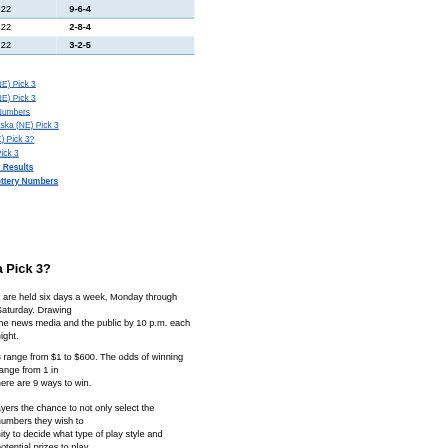| Date | Numbers |
| --- | --- |
| 22 | 9-6-4 |
| 22 | 2-8-4 |
| 22 | 3-2-5 |
NE) Pick 3
NE) Pick 3
Numbers
aska (NE) Pick 3
E) Pick 3?
Pick 3
y Results
ottery Numbers
a Pick 3?
s are held six days a week, Monday through Saturday. Drawing the news media and the public by 10 p.m. each night.
3 range from $1 to $600. The odds of winning range from 1 in here are 9 ways to win.
ayers the chance to not only select the numbers they wish to nity to decide what type of play style and potential prizes to play